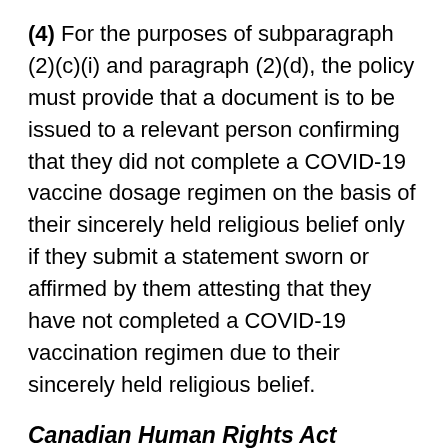(4) For the purposes of subparagraph (2)(c)(i) and paragraph (2)(d), the policy must provide that a document is to be issued to a relevant person confirming that they did not complete a COVID-19 vaccine dosage regimen on the basis of their sincerely held religious belief only if they submit a statement sworn or affirmed by them attesting that they have not completed a COVID-19 vaccination regimen due to their sincerely held religious belief.
Canadian Human Rights Act
(5) For the purposes of subparagraph (2)(c)